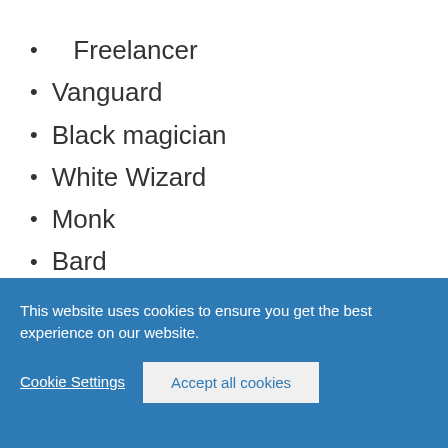Freelancer
Vanguard
Black magician
White Wizard
Monk
Bard
Beast master
Thief.
This website uses cookies to ensure you get the best experience on our website.
Cookie Settings
Accept all cookies